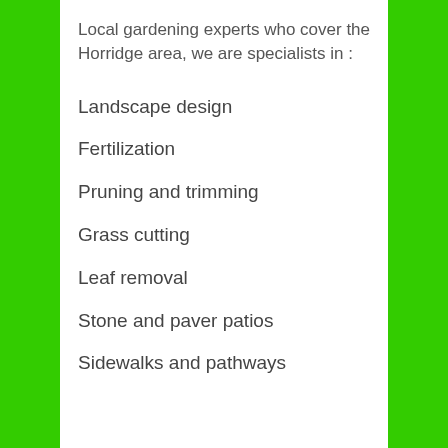Local gardening experts who cover the Horridge area, we are specialists in :
Landscape design
Fertilization
Pruning and trimming
Grass cutting
Leaf removal
Stone and paver patios
Sidewalks and pathways